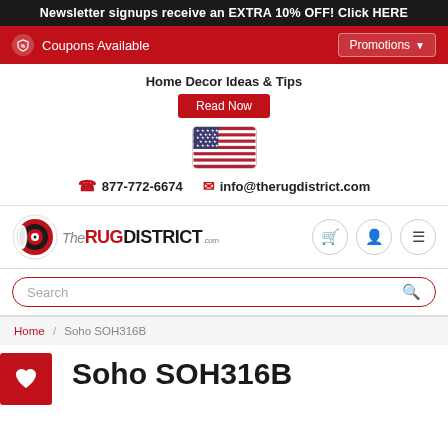Newsletter signups receive an EXTRA 10% OFF! Click HERE
Coupons Available    Promotions
Home Decor Ideas & Tips
Read Now
[Figure (illustration): US flag icon inside a rounded rectangle border]
877-772-6674    info@therugdistrict.com
[Figure (logo): The Rug District logo with stylized rug roll and brand name]
Search
Home / Soho SOH316B
Soho SOH316B